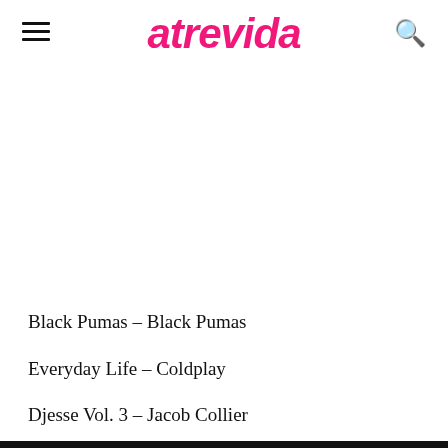atrevida
Black Pumas – Black Pumas
Everyday Life – Coldplay
Djesse Vol. 3 – Jacob Collier